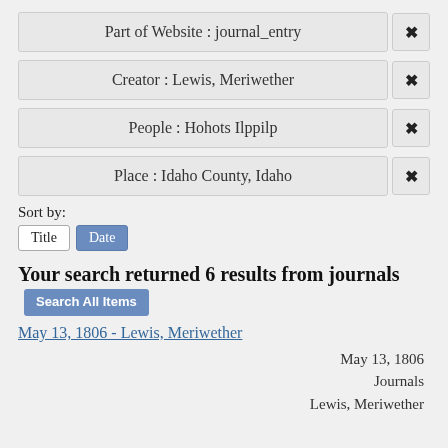Part of Website : journal_entry
Creator : Lewis, Meriwether
People : Hohots Ilppilp
Place : Idaho County, Idaho
Sort by:
Title
Date
Your search returned 6 results from journals Search All Items
May 13, 1806 - Lewis, Meriwether
May 13, 1806
Journals
Lewis, Meriwether